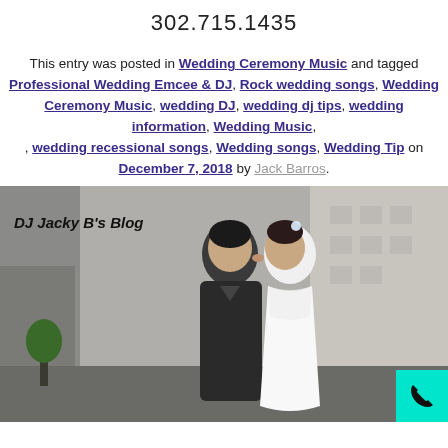302.715.1435
This entry was posted in Wedding Ceremony Music and tagged Professional Wedding Emcee & DJ, Rock wedding songs, Wedding Ceremony Music, wedding DJ, wedding dj tips, wedding information, Wedding Music, , wedding recessional songs, Wedding songs, Wedding Tip on December 7, 2018 by Jack Barros.
[Figure (photo): A bride and groom kissing outdoors near a red vintage car, with the text 'DJ Jacky B's Blog' overlaid. A teal call button with a phone icon is in the bottom right corner.]